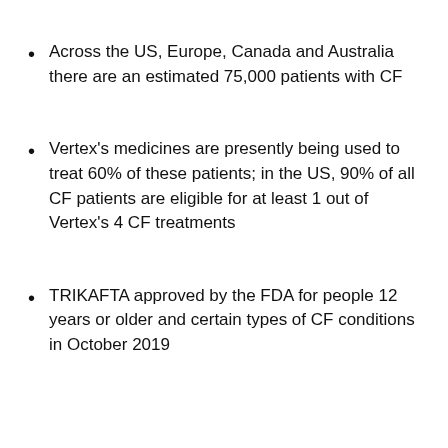Across the US, Europe, Canada and Australia there are an estimated 75,000 patients with CF
Vertex's medicines are presently being used to treat 60% of these patients; in the US, 90% of all CF patients are eligible for at least 1 out of Vertex's 4 CF treatments
TRIKAFTA approved by the FDA for people 12 years or older and certain types of CF conditions in October 2019